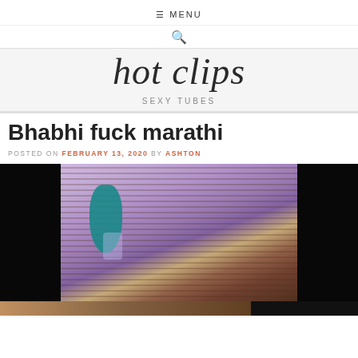☰ MENU
🔍
hot clips
SEXY TUBES
Bhabhi fuck marathi
POSTED ON FEBRUARY 13, 2020 BY ASHTON
[Figure (photo): A blurred close-up photo showing a person wearing a light purple/lavender outfit with teal/turquoise bangles and a thin gold bracelet, with wooden shutters or slats visible in the background. The sides of the image are black (letterboxed).]